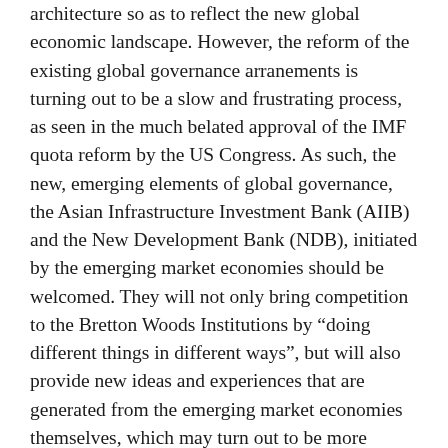architecture so as to reflect the new global economic landscape. However, the reform of the existing global governance arranements is turning out to be a slow and frustrating process, as seen in the much belated approval of the IMF quota reform by the US Congress. As such, the new, emerging elements of global governance, the Asian Infrastructure Investment Bank (AIIB) and the New Development Bank (NDB), initiated by the emerging market economies should be welcomed. They will not only bring competition to the Bretton Woods Institutions by “doing different things in different ways”, but will also provide new ideas and experiences that are generated from the emerging market economies themselves, which may turn out to be more effective in helping developing countries to achieve the Sustainable Development Goals (SDGs) by 2030.
The new reality is that we are observing the gradual multi-polarization of the global governance system, as reflected by the IMF quota reforms, the inclusion of the Chinese currency the Renminbi, or RMB) in the SDR currency basket, and the establishment of AIIB and the BRICS-led NDB. Inevitably, new instruments such as SDR denominated bonds and new